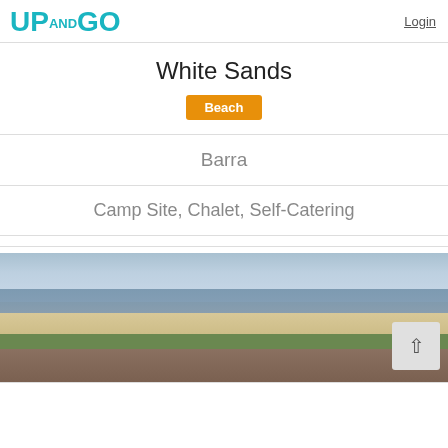UP AND GO | Login
White Sands
Beach
Barra
Camp Site, Chalet, Self-Catering
[Figure (photo): Beach scene with ocean, sandy shore, vegetation, and structures in foreground under a cloudy sky]